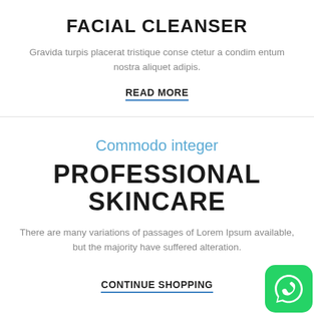FACIAL CLEANSER
Gravida turpis placerat tristique conse ctetur a condim entum nostra aliquet adipis.
READ MORE
Commodo integer
PROFESSIONAL SKINCARE
There are many variations of passages of Lorem Ipsum available, but the majority have suffered alteration.
CONTINUE SHOPPING
[Figure (logo): WhatsApp green rounded square icon with white phone/chat bubble logo]